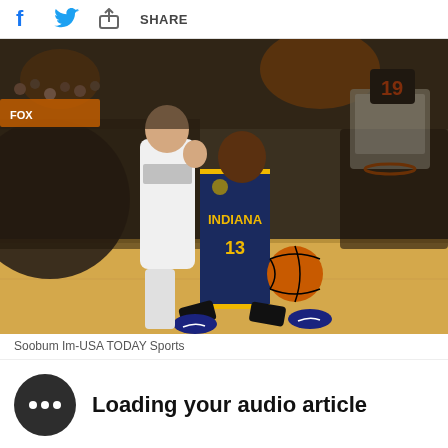f  [twitter bird]  [share icon]  SHARE
[Figure (photo): NBA basketball game photo: Indiana Pacers player #13 dribbling past a San Antonio Spurs defender in an arena setting]
Soobum Im-USA TODAY Sports
Loading your audio article